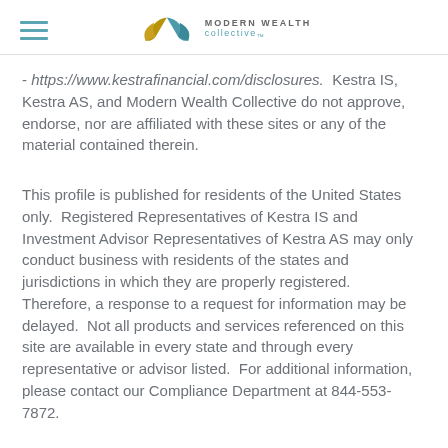Modern Wealth Collective
- https://www.kestrafinancial.com/disclosures.  Kestra IS, Kestra AS, and Modern Wealth Collective do not approve, endorse, nor are affiliated with these sites or any of the material contained therein.
This profile is published for residents of the United States only.  Registered Representatives of Kestra IS and Investment Advisor Representatives of Kestra AS may only conduct business with residents of the states and jurisdictions in which they are properly registered.  Therefore, a response to a request for information may be delayed.  Not all products and services referenced on this site are available in every state and through every representative or advisor listed.  For additional information, please contact our Compliance Department at 844-553-7872.